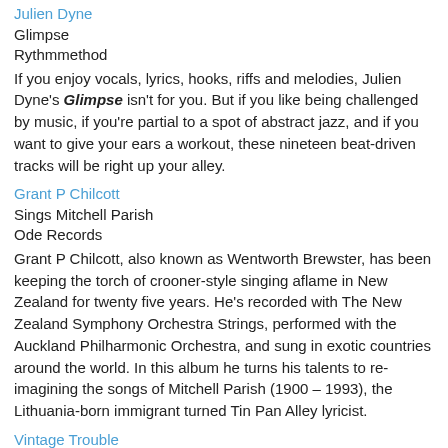Julien Dyne
Glimpse
Rythmmethod
If you enjoy vocals, lyrics, hooks, riffs and melodies, Julien Dyne's Glimpse isn't for you. But if you like being challenged by music, if you're partial to a spot of abstract jazz, and if you want to give your ears a workout, these nineteen beat-driven tracks will be right up your alley.
Grant P Chilcott
Sings Mitchell Parish
Ode Records
Grant P Chilcott, also known as Wentworth Brewster, has been keeping the torch of crooner-style singing aflame in New Zealand for twenty five years. He's recorded with The New Zealand Symphony Orchestra Strings, performed with the Auckland Philharmonic Orchestra, and sung in exotic countries around the world. In this album he turns his talents to re-imagining the songs of Mitchell Parish (1900 – 1993), the Lithuania-born immigrant turned Tin Pan Alley lyricist.
Vintage Trouble